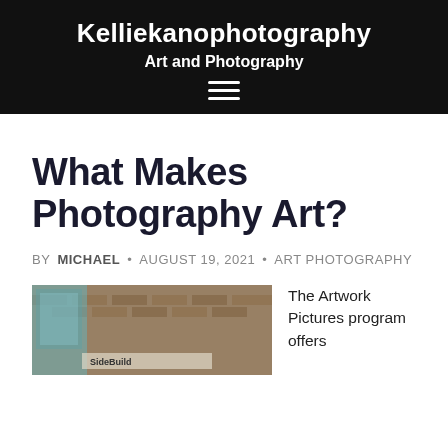Kelliekanophotography
Art and Photography
What Makes Photography Art?
BY MICHAEL • AUGUST 19, 2021 • ART PHOTOGRAPHY
[Figure (photo): Partial view of a brick building exterior with signage, partially legible text at bottom]
The Artwork Pictures program offers